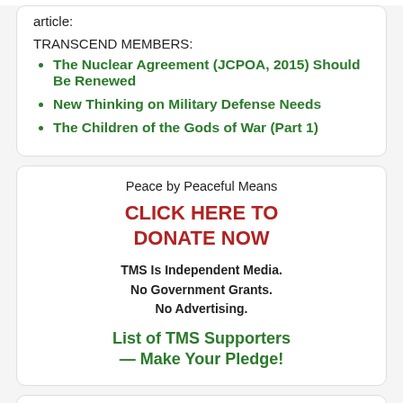article:
TRANSCEND MEMBERS:
The Nuclear Agreement (JCPOA, 2015) Should Be Renewed
New Thinking on Military Defense Needs
The Children of the Gods of War (Part 1)
Peace by Peaceful Means
CLICK HERE TO DONATE NOW
TMS Is Independent Media.
No Government Grants.
No Advertising.
List of TMS Supporters — Make Your Pledge!
2022, Week 35
29 Aug - 04 Sep